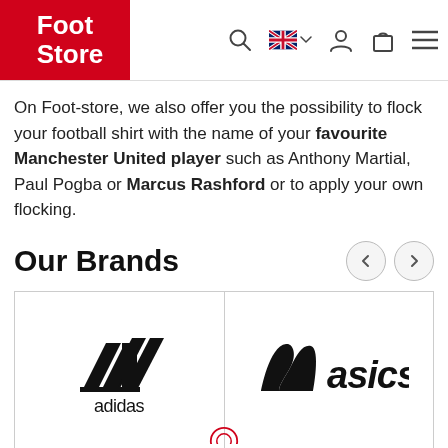Foot Store
On Foot-store, we also offer you the possibility to flock your football shirt with the name of your favourite Manchester United player such as Anthony Martial, Paul Pogba or Marcus Rashford or to apply your own flocking.
Our Brands
[Figure (logo): Adidas logo — three stripes triangle mark above the word 'adidas']
[Figure (logo): ASICS logo — stylized 'a' mark with italic text 'asics']
All our brands